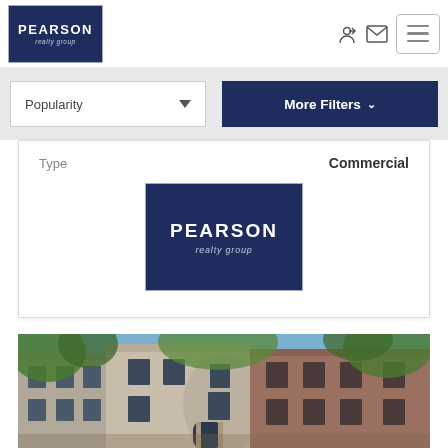[Figure (logo): Pearson Realty Group logo in navy blue box, header]
Popularity (dropdown) | More Filters ▼
Type  Commercial
[Figure (logo): Pearson Realty Group logo in navy blue box, inside card]
[Figure (photo): Exterior photo of a multi-story brownstone/greystone building with trees]